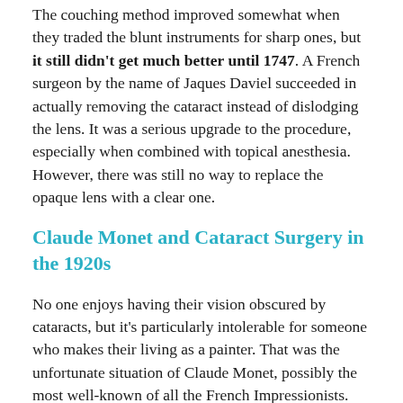The couching method improved somewhat when they traded the blunt instruments for sharp ones, but it still didn't get much better until 1747. A French surgeon by the name of Jaques Daviel succeeded in actually removing the cataract instead of dislodging the lens. It was a serious upgrade to the procedure, especially when combined with topical anesthesia. However, there was still no way to replace the opaque lens with a clear one.
Claude Monet and Cataract Surgery in the 1920s
No one enjoys having their vision obscured by cataracts, but it's particularly intolerable for someone who makes their living as a painter. That was the unfortunate situation of Claude Monet, possibly the most well-known of all the French Impressionists. Starting in his mid-fifties, his eyesight began to deteriorate due to cataracts. You can see